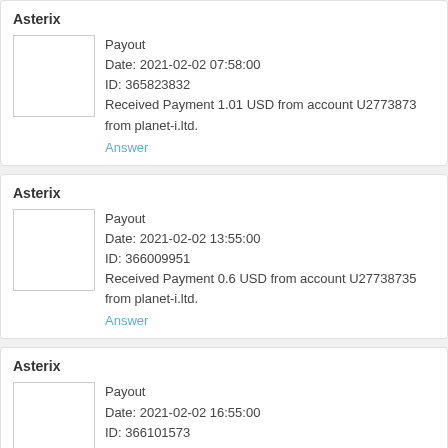Asterix
Payout
Date: 2021-02-02 07:58:00
ID: 365823832
Received Payment 1.01 USD from account U2773873 from planet-i.ltd.
Answer
Asterix
Payout
Date: 2021-02-02 13:55:00
ID: 366009951
Received Payment 0.6 USD from account U27738735 from planet-i.ltd.
Answer
Asterix
Payout
Date: 2021-02-02 16:55:00
ID: 366101573
Received Payment 0.5 USD from account U27738735 from planet-i.ltd.
Answer